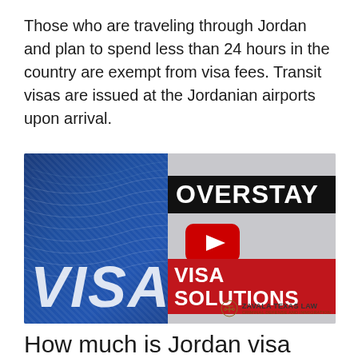Those who are traveling through Jordan and plan to spend less than 24 hours in the country are exempt from visa fees. Transit visas are issued at the Jordanian airports upon arrival.
[Figure (screenshot): YouTube video thumbnail showing a visa card on the left with 'VISA' text and a YouTube play button in the center. On the right side: 'OVERSTAY' in white on black background, 'VISA SOLUTIONS' in white on red background, and Zavala Texas Law logo at bottom right.]
How much is Jordan visa fee?